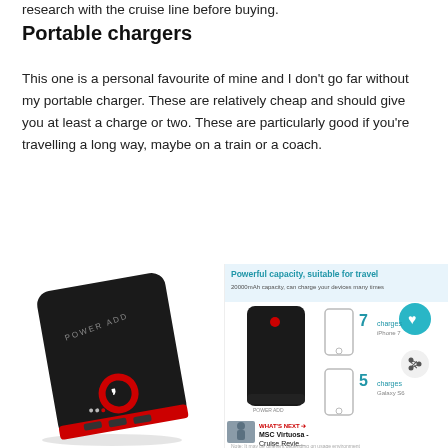research with the cruise line before buying.
Portable chargers
This one is a personal favourite of mine and I don't go far without my portable charger. These are relatively cheap and should give you at least a charge or two. These are particularly good if you're travelling a long way, maybe on a train or a coach.
[Figure (photo): Black portable power bank charger with red Vodafone logo and red USB ports at bottom, shown at an angle on white background]
[Figure (photo): Product listing image for a power bank showing '20000mAh capacity, can charge your devices many times', with icons indicating 7 charges for iPhone 7 and 5 charges for Galaxy S6, plus a heart/like icon, share icon, and a 'WHAT'S NEXT' section showing MSC Virtuosa Cruise Review thumbnail]